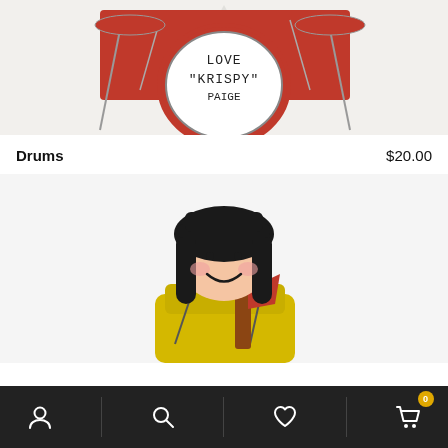[Figure (photo): Close-up photo of a personalized drum set ornament/figurine with red drum kit, featuring text 'LOVE "KRISPY" PAIGE' written on the bass drum head]
Drums    $20.00
[Figure (photo): Photo of a smiling female firefighter figurine/ornament wearing yellow gear and holding a red axe, with dark hair]
Navigation bar with account, search, wishlist, and cart (0) icons